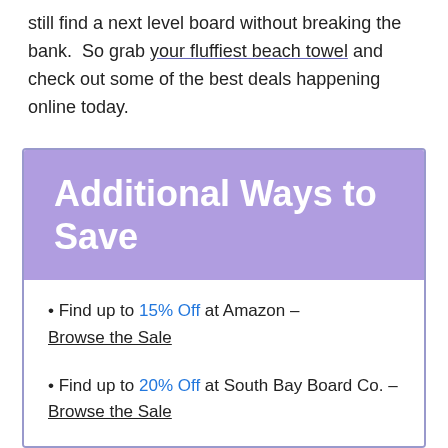still find a next level board without breaking the bank.  So grab your fluffiest beach towel and check out some of the best deals happening online today.
Additional Ways to Save
Find up to 15% Off at Amazon – Browse the Sale
Find up to 20% Off at South Bay Board Co. – Browse the Sale